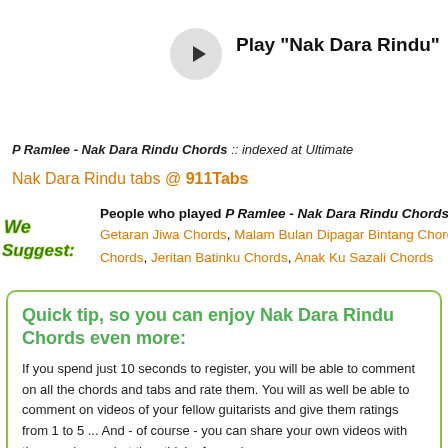[Figure (other): Play button circle with horizontal rule line, title 'Play "Nak Dara Rindu"' and subtitle 'on Apple Music']
P Ramlee - Nak Dara Rindu Chords :: indexed at Ultimate
Nak Dara Rindu tabs @ 911Tabs
[Figure (logo): We Suggest: logo in green stylized text]
People who played P Ramlee - Nak Dara Rindu Chords also played: Getaran Jiwa Chords, Malam Bulan Dipagar Bintang Chords, Di... Chords, Jeritan Batinku Chords, Anak Ku Sazali Chords
Quick tip, so you can enjoy Nak Dara Rindu Chords even more:
If you spend just 10 seconds to register, you will be able to comment on all the chords and tabs and rate them. You will as well be able to comment on videos of your fellow guitarists and give them ratings from 1 to 5 ... And - of course - you can share your own videos with them and see what they think of you. :)
Click here to join us!